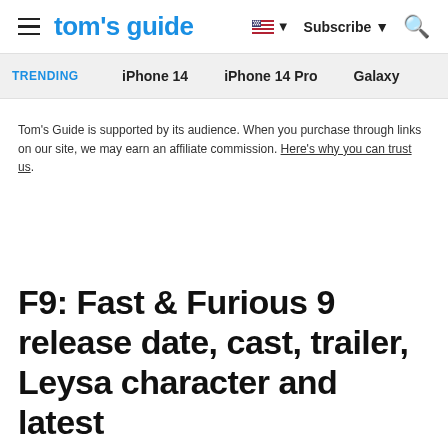tom's guide | Subscribe
TRENDING  iPhone 14  iPhone 14 Pro  Galaxy
Tom's Guide is supported by its audience. When you purchase through links on our site, we may earn an affiliate commission. Here's why you can trust us.
F9: Fast & Furious 9 release date, cast, trailer, Leysa character and latest news